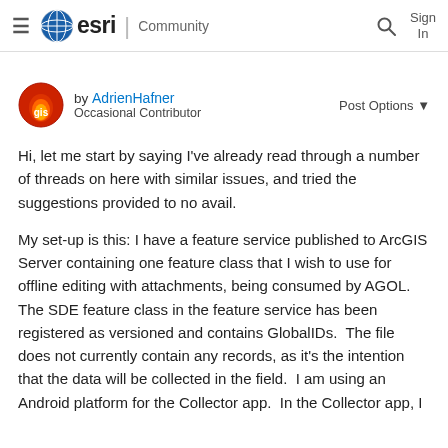≡ esri | Community   🔍   Sign In
by AdrienHafner  Occasional Contributor   Post Options ▼
Hi, let me start by saying I've already read through a number of threads on here with similar issues, and tried the suggestions provided to no avail.
My set-up is this: I have a feature service published to ArcGIS Server containing one feature class that I wish to use for offline editing with attachments, being consumed by AGOL.  The SDE feature class in the feature service has been registered as versioned and contains GlobalIDs.  The file does not currently contain any records, as it's the intention that the data will be collected in the field.  I am using an Android platform for the Collector app.  In the Collector app, I